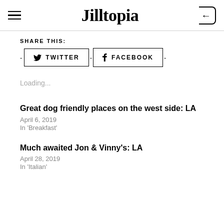Jilltopia
SHARE THIS:
TWITTER   FACEBOOK
Loading...
Great dog friendly places on the west side: LA
April 6, 2019
In 'Breakfast'
Much awaited Jon & Vinny's: LA
April 28, 2019
In 'Italian'